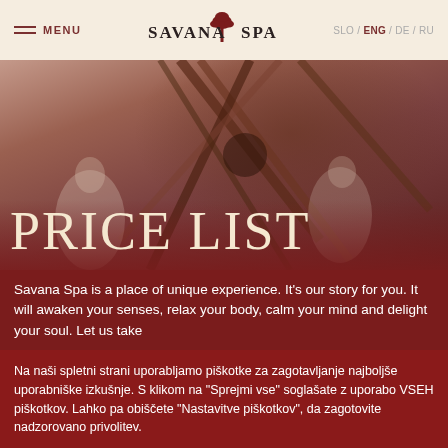MENU | SAVANA SPA | SLO / ENG / DE / RU
[Figure (photo): Spa hero image with bamboo/wooden structure overhead and people in white robes, warm reddish-brown tones]
PRICE LIST
Savana Spa is a place of unique experience. It's our story for you. It will awaken your senses, relax your body, calm your mind and delight your soul. Let us take
Na naši spletni strani uporabljamo piškotke za zagotavljanje najboljše uporabniške izkušnje. S klikom na "Sprejmi vse" soglašate z uporabo VSEH piškotkov. Lahko pa obiščete "Nastavitve piškotkov", da zagotovite nadzorovano privolitev.
Nastavitve piškotkov
Sprejmi vse